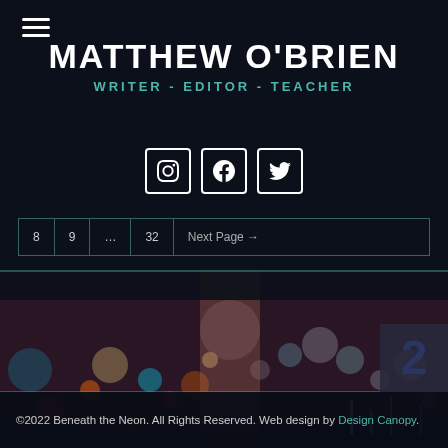MATTHEW O'BRIEN
WRITER - EDITOR - TEACHER
[Figure (screenshot): Social media icons: Instagram, Facebook, Twitter in white bordered boxes]
[Figure (screenshot): Pagination bar with page buttons: 8, 9, ..., 32, Next Page]
[Figure (photo): Blurred night city street scene with colorful bokeh lights]
©2022 Beneath the Neon. All Rights Reserved. Web design by Design Canopy.